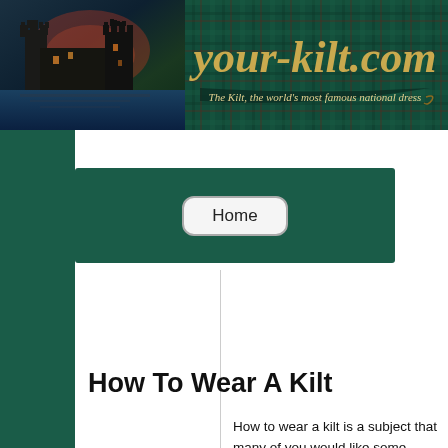[Figure (illustration): Website header banner for your-kilt.com showing a Scottish castle at night on the left and the site logo 'your-kilt.com' with tagline 'The Kilt, the world's most famous national dress' on a dark green background with tartan pattern]
Home
How To Wear A Kilt
How to wear a kilt is a subject that many of you would like some further information on.
Indeed for anyone who has never worn